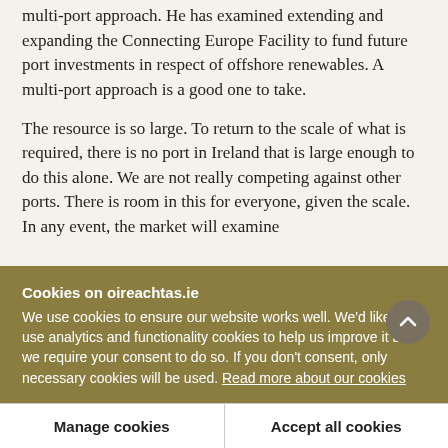multi-port approach. He has examined extending and expanding the Connecting Europe Facility to fund future port investments in respect of offshore renewables. A multi-port approach is a good one to take.
The resource is so large. To return to the scale of what is required, there is no port in Ireland that is large enough to do this alone. We are not really competing against other ports. There is room in this for everyone, given the scale. In any event, the market will examine
Cookies on oireachtas.ie
We use cookies to ensure our website works well. We'd like to use analytics and functionality cookies to help us improve it but we require your consent to do so. If you don't consent, only necessary cookies will be used. Read more about our cookies
Manage cookies
Accept all cookies